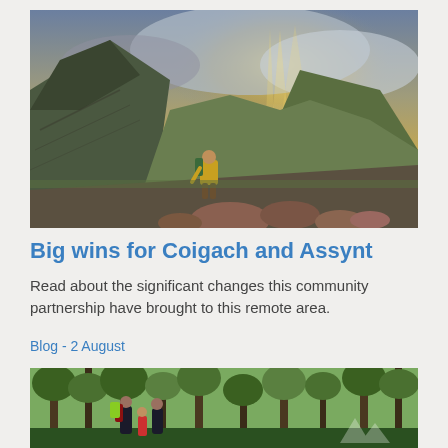[Figure (photo): A person in a yellow jacket climbing a rocky hillside among Scottish highlands with dramatic mountains and a sunlit sky in the background.]
Big wins for Coigach and Assynt
Read about the significant changes this community partnership have brought to this remote area.
Blog - 2 August
[Figure (photo): Adults and children walking through a green woodland forest, viewed from behind.]